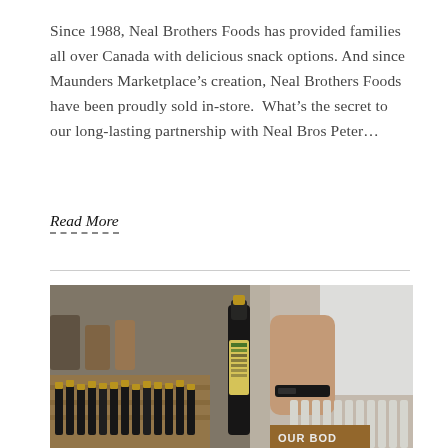Since 1988, Neal Brothers Foods has provided families all over Canada with delicious snack options. And since Maunders Marketplace's creation, Neal Brothers Foods have been proudly sold in-store.  What's the secret to our long-lasting partnership with Neal Bros Peter...
Read More
[Figure (photo): A person holding a dark bottle (likely olive oil) at a market stall, with many bottles and food products displayed in wooden crates in the background.]